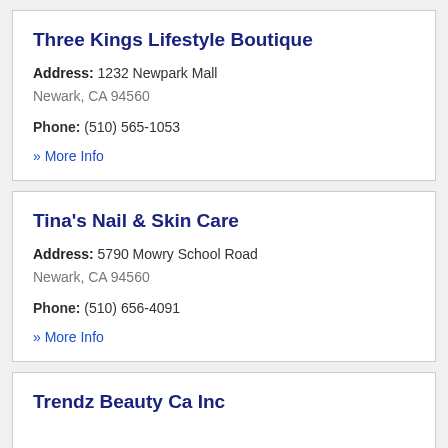Three Kings Lifestyle Boutique
Address: 1232 Newpark Mall
Newark, CA 94560
Phone: (510) 565-1053
» More Info
Tina's Nail & Skin Care
Address: 5790 Mowry School Road
Newark, CA 94560
Phone: (510) 656-4091
» More Info
Trendz Beauty Ca Inc